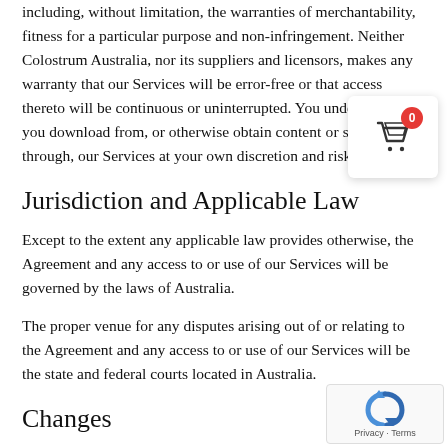including, without limitation, the warranties of merchantability, fitness for a particular purpose and non-infringement. Neither Colostrum Australia, nor its suppliers and licensors, makes any warranty that our Services will be error-free or that access thereto will be continuous or uninterrupted. You understand that you download from, or otherwise obtain content or services through, our Services at your own discretion and risk.
Jurisdiction and Applicable Law
Except to the extent any applicable law provides otherwise, the Agreement and any access to or use of our Services will be governed by the laws of Australia.
The proper venue for any disputes arising out of or relating to the Agreement and any access to or use of our Services will be the state and federal courts located in Australia.
Changes
Colostrum Australia reserves the right, at our sole discretion, to